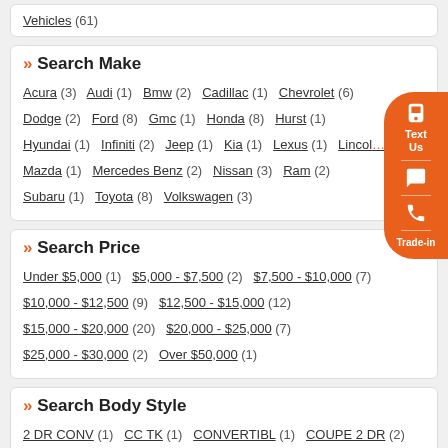Vehicles (61)
» Search Make
Acura (3) Audi (1) Bmw (2) Cadillac (1) Chevrolet (6) Dodge (2) Ford (8) Gmc (1) Honda (8) Hurst (1) Hyundai (1) Infiniti (2) Jeep (1) Kia (1) Lexus (1) Lincoln Mazda (1) Mercedes Benz (2) Nissan (3) Ram (2) Subaru (1) Toyota (8) Volkswagen (3)
» Search Price
Under $5,000 (1) $5,000 - $7,500 (2) $7,500 - $10,000 (7) $10,000 - $12,500 (9) $12,500 - $15,000 (12) $15,000 - $20,000 (20) $20,000 - $25,000 (7) $25,000 - $30,000 (2) Over $50,000 (1)
» Search Body Style
2 DR CONV (1) CC TK (1) CONVERTIBL (1) COUPE 2 DR (2) CREW CAB P (1) EXT. CAB TK (4) EXTENDED C (2) HATCHBACK (4) Quad Cab TK (1) REGULAR CA (1)